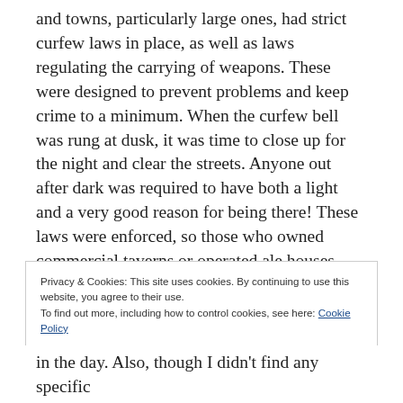and towns, particularly large ones, had strict curfew laws in place, as well as laws regulating the carrying of weapons. These were designed to prevent problems and keep crime to a minimum. When the curfew bell was rung at dusk, it was time to close up for the night and clear the streets. Anyone out after dark was required to have both a light and a very good reason for being there! These laws were enforced, so those who owned commercial taverns or operated ale houses from their homes either had to kick everyone out, or be prepared to accommodate them for the entire night.
Privacy & Cookies: This site uses cookies. By continuing to use this website, you agree to their use. To find out more, including how to control cookies, see here: Cookie Policy
in the day. Also, though I didn't find any specific